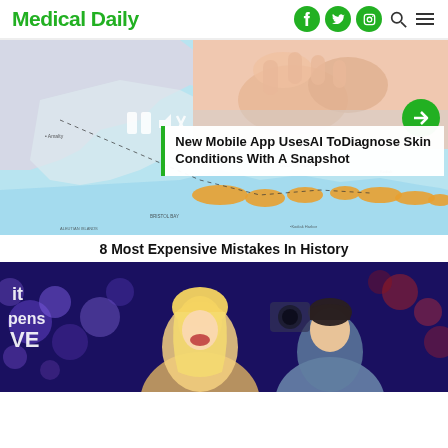Medical Daily
[Figure (screenshot): Medical Daily website screenshot showing navigation bar with logo, social icons (Facebook, Twitter, Instagram), search and menu icons]
[Figure (photo): Composite image: left half shows a map of Alaska/Aleutian Islands in light blue and orange; right upper portion shows hands touching skin (medical photo). Overlaid with article title about mobile app using AI to diagnose skin conditions.]
New Mobile App UsesAI ToDiagnose Skin Conditions With A Snapshot
8 Most Expensive Mistakes In History
[Figure (photo): TV show set photo showing a blonde woman laughing and a dark-haired man, with colorful bokeh lights in background and a TV show logo reading 'it ppens VE']